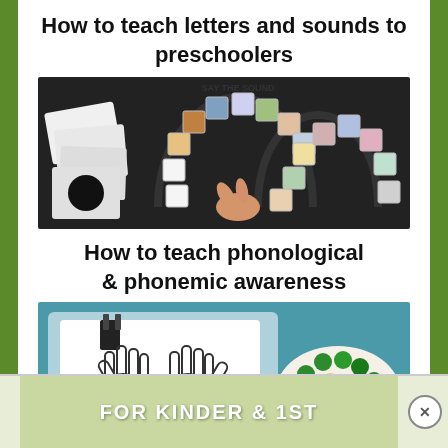How to teach letters and sounds to preschoolers
[Figure (photo): Child's hand pointing at a 'Say The Sound' learning board game with letter/picture tiles arranged in a horseshoe shape]
How to teach phonological & phonemic awareness
[Figure (photo): Preschool math materials: a number card with hand outlines showing 5 fingers, dots arranged below, and a bowl of colorful counting bears (blue, green, yellow, red)]
How to teach preschool math
FOR KINDER & 1ST